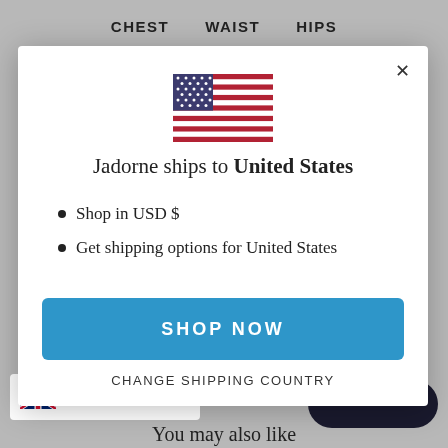CHEST   WAIST   HIPS
[Figure (illustration): US flag SVG illustration inside modal dialog]
Jadorne ships to United States
Shop in USD $
Get shipping options for United States
SHOP NOW
CHANGE SHIPPING COUNTRY
English
You may also like